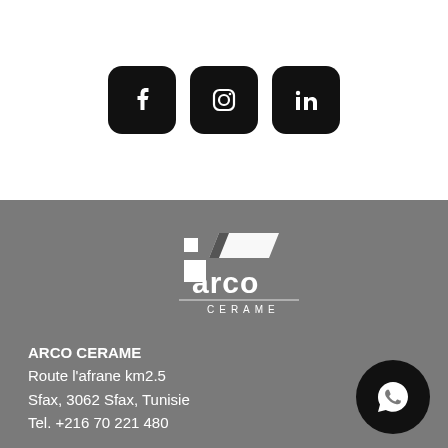[Figure (logo): Three social media icons: Facebook, Instagram, LinkedIn — black rounded square buttons on white background]
[Figure (logo): ARCO CERAME company logo in white on grey background, with geometric tile shapes above the text and 'CERAME' in spaced capitals below]
ARCO CERAME
Route l'afrane km2.5
Sfax, 3062 Sfax, Tunisie
Tel. +216 70 221 480
[Figure (logo): WhatsApp icon — white phone/chat icon on black circular button]